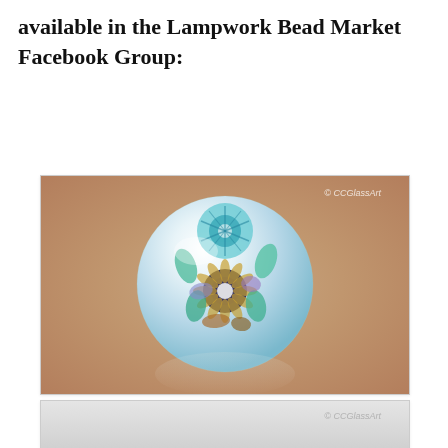available in the Lampwork Bead Market Facebook Group:
[Figure (photo): Close-up photo of a decorative lampwork glass bead with intricate floral and swirling patterns in teal, blue, gold, and brown on a white base, with a bokeh tan/brown background and reflection on surface below. Watermark: © CCGlassArt]
[Figure (photo): Partial view of a second lampwork bead photo with gray/silver background. Watermark: © CCGlassArt]